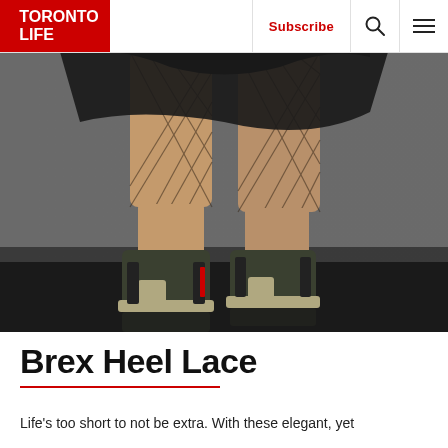TORONTO LIFE | Subscribe
[Figure (photo): Close-up photo of a person's legs wearing fishnet stockings and dark olive/green chunky heel Chelsea boots with a light-colored lug sole, standing on a reflective dark floor with a grey backdrop. A black pleated skirt is visible at the top.]
Brex Heel Lace
Life's too short to not be extra. With these elegant, yet